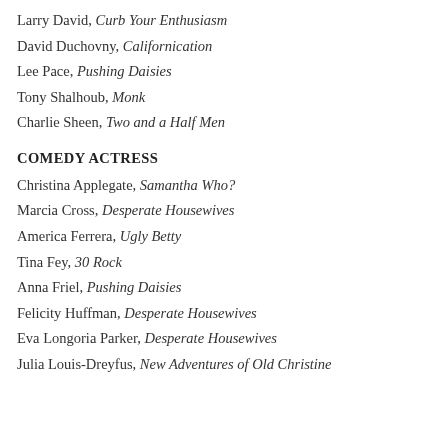Larry David, Curb Your Enthusiasm
David Duchovny, Californication
Lee Pace, Pushing Daisies
Tony Shalhoub, Monk
Charlie Sheen, Two and a Half Men
COMEDY ACTRESS
Christina Applegate, Samantha Who?
Marcia Cross, Desperate Housewives
America Ferrera, Ugly Betty
Tina Fey, 30 Rock
Anna Friel, Pushing Daisies
Felicity Huffman, Desperate Housewives
Eva Longoria Parker, Desperate Housewives
Julia Louis-Dreyfus, New Adventures of Old Christine